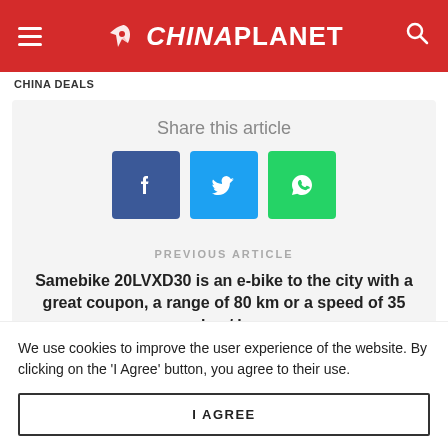CHINA PLANET
CHINA DEALS
Share this article
[Figure (infographic): Social share buttons: Facebook (blue), Twitter (cyan), WhatsApp (green)]
PREVIOUS ARTICLE
Samebike 20LVXD30 is an e-bike to the city with a great coupon, a range of 80 km or a speed of 35 km / h
NEXT ARTICLE
Cookie notice: We use cookies to improve the user experience of the website. By clicking on the 'I Agree' button, you agree to their use.
I AGREE